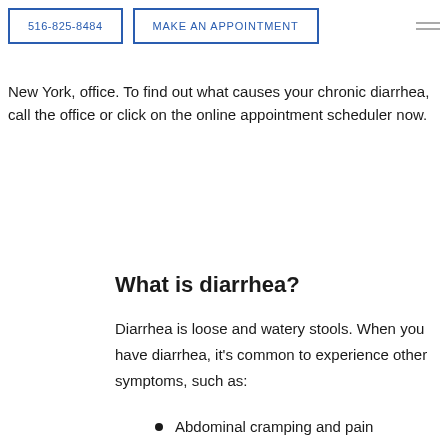516-825-8484 | MAKE AN APPOINTMENT
New York, office. To find out what causes your chronic diarrhea, call the office or click on the online appointment scheduler now.
What is diarrhea?
Diarrhea is loose and watery stools. When you have diarrhea, it's common to experience other symptoms, such as:
Abdominal cramping and pain